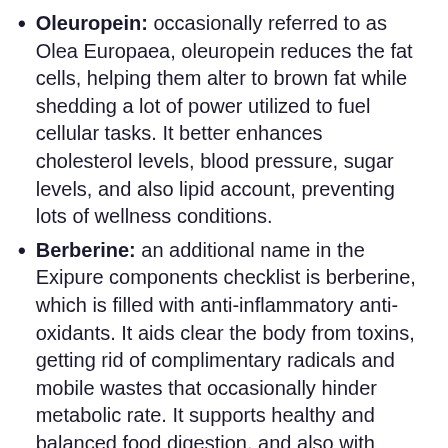Oleuropein: occasionally referred to as Olea Europaea, oleuropein reduces the fat cells, helping them alter to brown fat while shedding a lot of power utilized to fuel cellular tasks. It better enhances cholesterol levels, blood pressure, sugar levels, and also lipid account, preventing lots of wellness conditions.
Berberine: an additional name in the Exipure components checklist is berberine, which is filled with anti-inflammatory anti-oxidants. It aids clear the body from toxins, getting rid of complimentary radicals and mobile wastes that occasionally hinder metabolic rate. It supports healthy and balanced food digestion, and also with quercetin, it thaws more fat in much less time.
Resveratrol: the surname in Exipure